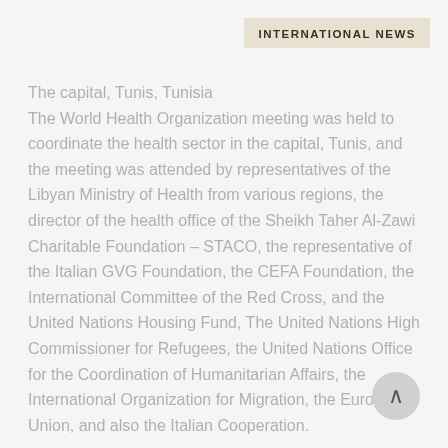INTERNATIONAL NEWS
The capital, Tunis, Tunisia
The World Health Organization meeting was held to coordinate the health sector in the capital, Tunis, and the meeting was attended by representatives of the Libyan Ministry of Health from various regions, the director of the health office of the Sheikh Taher Al-Zawi Charitable Foundation – STACO, the representative of the Italian GVG Foundation, the CEFA Foundation, the International Committee of the Red Cross, and the United Nations Housing Fund, The United Nations High Commissioner for Refugees, the United Nations Office for the Coordination of Humanitarian Affairs, the International Organization for Migration, the European Union, and also the Italian Cooperation.